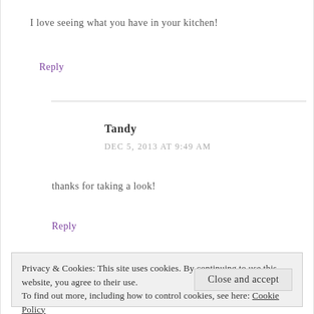I love seeing what you have in your kitchen!
Reply
Tandy
DEC 5, 2013 AT 9:49 AM
thanks for taking a look!
Reply
Privacy & Cookies: This site uses cookies. By continuing to use this website, you agree to their use.
To find out more, including how to control cookies, see here: Cookie Policy
Close and accept